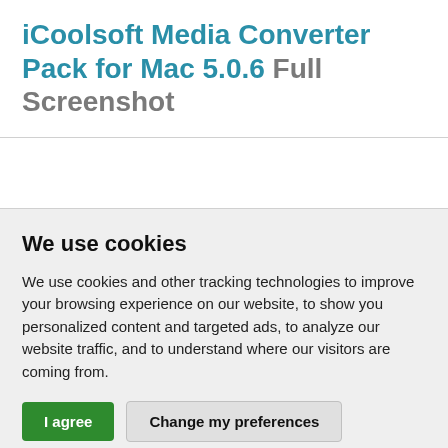iCoolsoft Media Converter Pack for Mac 5.0.6 Full Screenshot
[Figure (other): White blank image placeholder area]
We use cookies
We use cookies and other tracking technologies to improve your browsing experience on our website, to show you personalized content and targeted ads, to analyze our website traffic, and to understand where our visitors are coming from.
I agree   Change my preferences